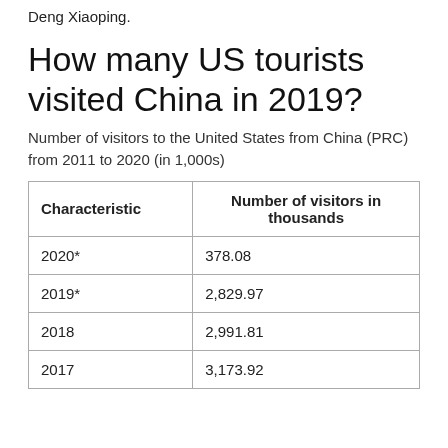Deng Xiaoping.
How many US tourists visited China in 2019?
Number of visitors to the United States from China (PRC) from 2011 to 2020 (in 1,000s)
| Characteristic | Number of visitors in thousands |
| --- | --- |
| 2020* | 378.08 |
| 2019* | 2,829.97 |
| 2018 | 2,991.81 |
| 2017 | 3,173.92 |